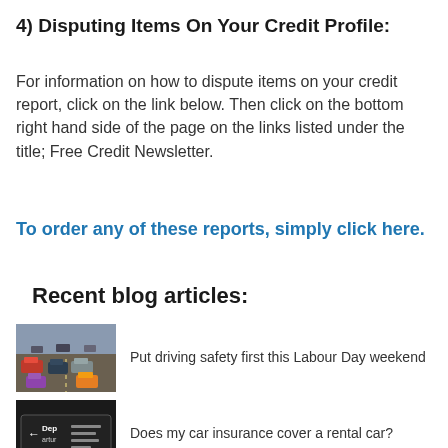4) Disputing Items On Your Credit Profile:
For information on how to dispute items on your credit report, click on the link below. Then click on the bottom right hand side of the page on the links listed under the title; Free Credit Newsletter.
To order any of these reports, simply click here.
Recent blog articles:
[Figure (photo): Traffic jam with cars on a road]
Put driving safety first this Labour Day weekend
[Figure (photo): Airport departure sign]
Does my car insurance cover a rental car?